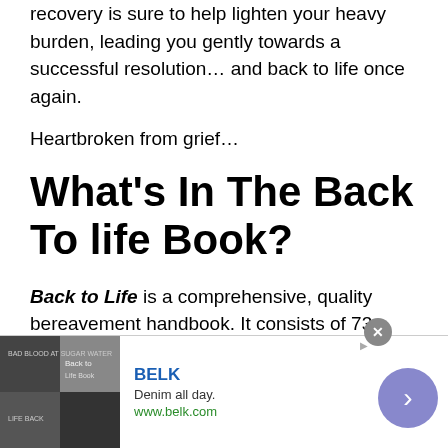recovery is sure to help lighten your heavy burden, leading you gently towards a successful resolution… and back to life once again.
Heartbroken from grief…
What's In The Back To life Book?
Back to Life is a comprehensive, quality bereavement handbook. It consists of 73 pages that explore many aspects of grief in detail. There are 19 chapters or
[Figure (screenshot): Advertisement banner for BELK - Denim all day. www.belk.com, with fashion images and a close button and arrow button]